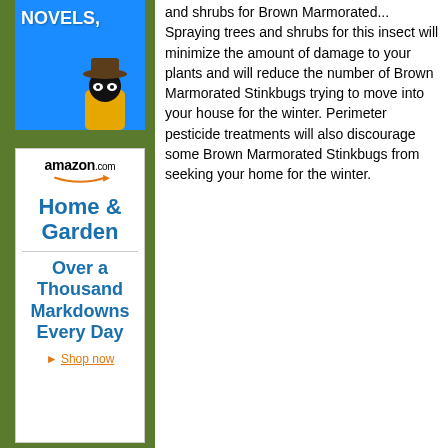[Figure (illustration): Blue advertisement banner with text 'NOVELS,' and a cartoon detective figure wearing a yellow coat and dark hat]
[Figure (illustration): Amazon.com Home & Garden advertisement with text 'Over a Thousand Markdowns Every Day' and 'Shop now' link in orange]
and shrubs for Brown Marmorated... Spraying trees and shrubs for this insect will minimize the amount of damage to your plants and will reduce the number of Brown Marmorated Stinkbugs trying to move into your house for the winter. Perimeter pesticide treatments will also discourage some Brown Marmorated Stinkbugs from seeking your home for the winter.